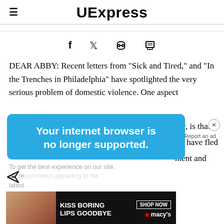UExpress
[Figure (infographic): Social sharing icons: Facebook (f), Twitter bird, link/chain, printer]
DEAR ABBY: Recent letters from "Sick and Tired," and "In the Trenches in Philadelphia" have spotlighted the very serious problem of domestic violence. One aspect
[Figure (screenshot): Browser popup overlay: 'Your internet browser is no longer supported.' in white bold text on blue background. Below: 'To get the best experience on our site, we re[commend upgrading to the] latest[...]' Also shows a Macy's ad banner: 'KISS BORING LIPS GOODBYE SHOP NOW ★ macy's'. A close button (×) appears top right. Partial article text visible to the right: 'ver, is that', 'als have fled', 'ment and'. 'Report an ad' link visible.]